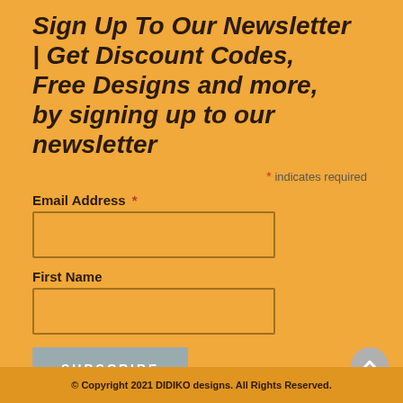Sign Up To Our Newsletter | Get Discount Codes, Free Designs and more, by signing up to our newsletter
* indicates required
Email Address *
First Name
© Copyright 2021 DIDIKO designs. All Rights Reserved.